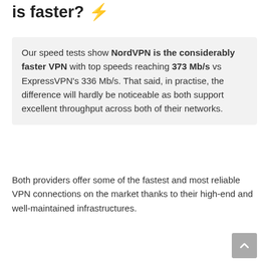is faster? ⚡
Our speed tests show NordVPN is the considerably faster VPN with top speeds reaching 373 Mb/s vs ExpressVPN's 336 Mb/s. That said, in practise, the difference will hardly be noticeable as both support excellent throughput across both of their networks.
Both providers offer some of the fastest and most reliable VPN connections on the market thanks to their high-end and well-maintained infrastructures.